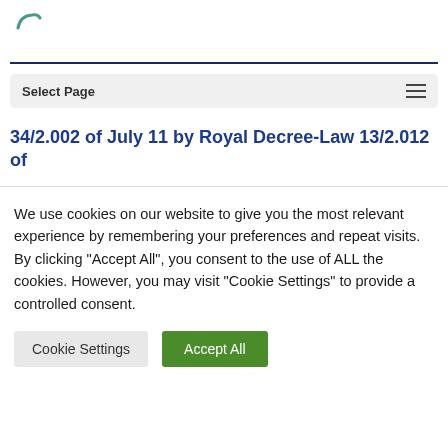[Figure (logo): Partial teal/green arc logo in top-left corner]
Select Page
34/2.002 of July 11 by Royal Decree-Law 13/2.012 of
We use cookies on our website to give you the most relevant experience by remembering your preferences and repeat visits. By clicking "Accept All", you consent to the use of ALL the cookies. However, you may visit "Cookie Settings" to provide a controlled consent.
Cookie Settings  Accept All